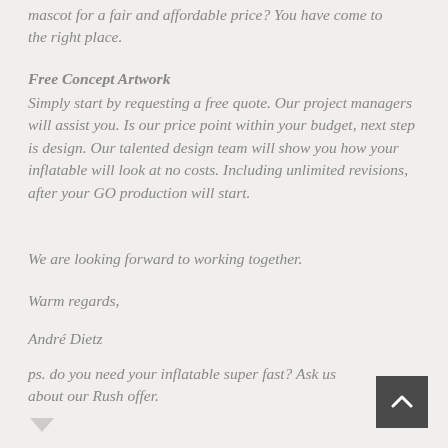mascot for a fair and affordable price? You have come to the right place.
Free Concept Artwork
Simply start by requesting a free quote. Our project managers will assist you. Is our price point within your budget, next step is design. Our talented design team will show you how your inflatable will look at no costs. Including unlimited revisions, after your GO production will start.
We are looking forward to working together.
Warm regards,
André Dietz
ps. do you need your inflatable super fast? Ask us about our Rush offer.